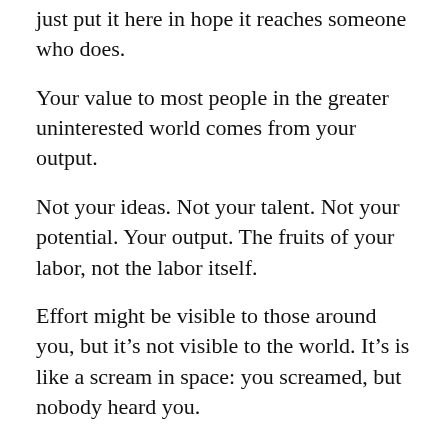just put it here in hope it reaches someone who does.
Your value to most people in the greater uninterested world comes from your output.
Not your ideas. Not your talent. Not your potential. Your output. The fruits of your labor, not the labor itself.
Effort might be visible to those around you, but it’s not visible to the world. It’s is like a scream in space: you screamed, but nobody heard you.